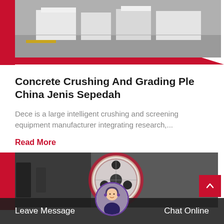[Figure (photo): Industrial machinery equipment in a warehouse or factory setting, white/grey machinery with yellow safety markings on floor]
Concrete Crushing And Grading Ple China Jenis Sepedah
Dece is a large intelligent crushing and screening equipment manufacturer integrating research,...
Read More
[Figure (photo): Close-up of industrial crushing or grinding machinery component, circular disc with holes]
Leave Message
Chat Online